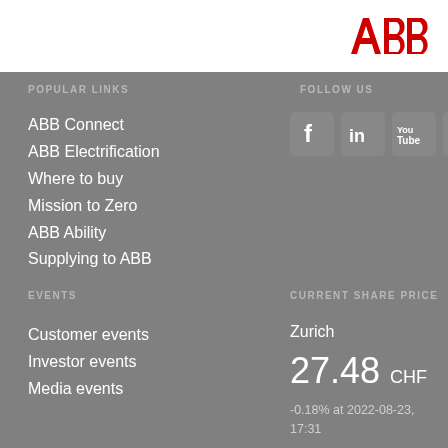[Figure (logo): ABB logo in red and white]
POPULAR LINKS
FOLLOW US
ABB Connect
ABB Electrification
Where to buy
Mission to Zero
ABB Ability
Supplying to ABB
[Figure (infographic): Social media icons: Facebook, LinkedIn, YouTube, Twitter]
EVENTS
CURRENT SHARE PRICE
Customer events
Investor events
Media events
Zurich
27.48 CHF
-0.18% at 2022-08-23, 17:31